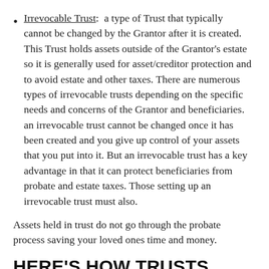Irrevocable Trust: a type of Trust that typically cannot be changed by the Grantor after it is created. This Trust holds assets outside of the Grantor's estate so it is generally used for asset/creditor protection and to avoid estate and other taxes. There are numerous types of irrevocable trusts depending on the specific needs and concerns of the Grantor and beneficiaries. an irrevocable trust cannot be changed once it has been created and you give up control of your assets that you put into it. But an irrevocable trust has a key advantage in that it can protect beneficiaries from probate and estate taxes. Those setting up an irrevocable trust must also.
Assets held in trust do not go through the probate process saving your loved ones time and money.
HERE'S HOW TRUSTS MIGHT